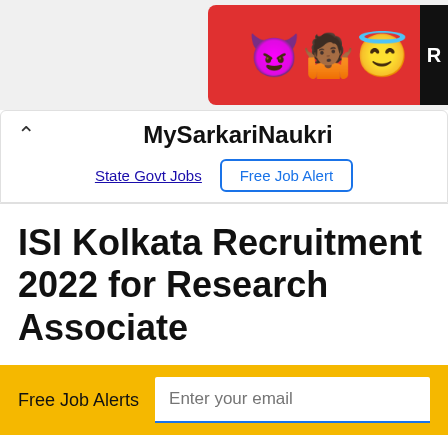[Figure (illustration): Advertisement banner with cartoon emoji characters (devil, person, angel emoji) on a red background, with a black R badge on the right side]
MySarkariNaukri
State Govt Jobs   Free Job Alert
ISI Kolkata Recruitment 2022 for Research Associate
Free Job Alerts   Enter your email